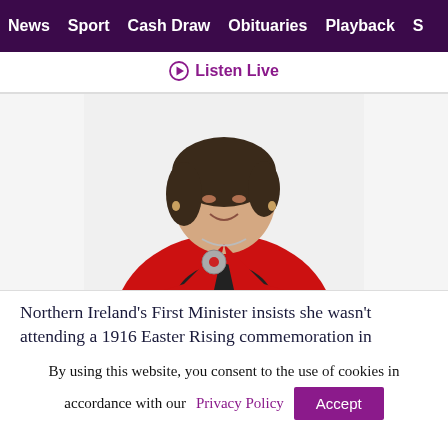News  Sport  Cash Draw  Obituaries  Playback  S
Listen Live
[Figure (photo): Portrait photo of a woman with dark hair wearing a red jacket and a decorative brooch, smiling, white background]
Northern Ireland's First Minister insists she wasn't attending a 1916 Easter Rising commemoration in
By using this website, you consent to the use of cookies in accordance with our Privacy Policy  Accept